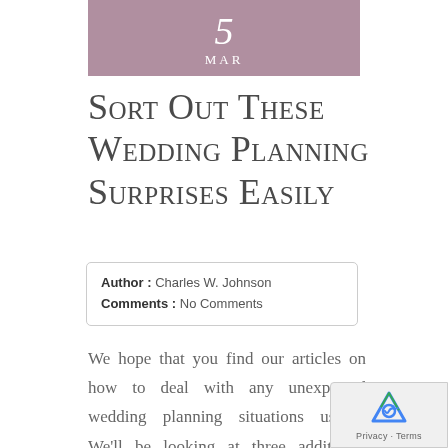[Figure (other): Purple/mauve header block showing a number (partially visible, cursive) and the month 'Mar' in white small-caps text]
Sort Out These Wedding Planning Surprises Easily
Author : Charles W. Johnson   Comments : No Comments
We hope that you find our articles on how to deal with any unexpected wedding planning situations useful. We'll be looking at three additional wedding planning options that may arise in